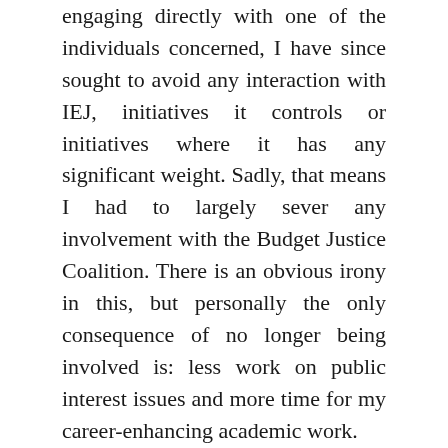engaging directly with one of the individuals concerned, I have since sought to avoid any interaction with IEJ, initiatives it controls or initiatives where it has any significant weight. Sadly, that means I had to largely sever any involvement with the Budget Justice Coalition. There is an obvious irony in this, but personally the only consequence of no longer being involved is: less work on public interest issues and more time for my career-enhancing academic work.
I summarised my stance as follows when I was approached more than 12 months later (in early 2019) to be involved in one aspect of the Rethinking Economics for Africa (REFA) initiative: